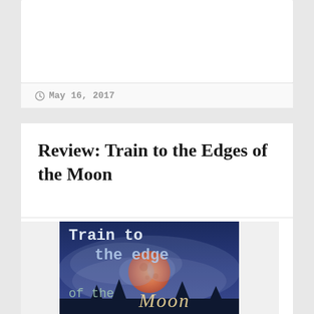May 16, 2017
Review: Train to the Edges of the Moon
[Figure (illustration): Book cover for 'Train to the edge of the Moon' showing text in typewriter font over a dark blue atmospheric background with a large orange/red moon and mist, with cursive 'Moon' text at the bottom]